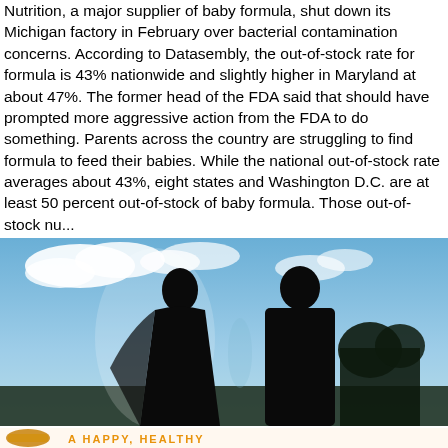Nutrition, a major supplier of baby formula, shut down its Michigan factory in February over bacterial contamination concerns. According to Datasembly, the out-of-stock rate for formula is 43% nationwide and slightly higher in Maryland at about 47%. The former head of the FDA said that should have prompted more aggressive action from the FDA to do something. Parents across the country are struggling to find formula to feed their babies. While the national out-of-stock rate averages about 43%, eight states and Washington D.C. are at least 50 percent out-of-stock of baby formula. Those out-of-stock nu...
Read More
[Figure (photo): Silhouette of a bride and groom facing each other against a bright blue sky with clouds. An orange camera aperture/shutter icon is visible in the upper right corner overlay.]
[Figure (photo): Partial banner image showing a honey dipper on the left side and orange handwritten-style text reading 'A HAPPY, HEALTHY' on a white/light background.]